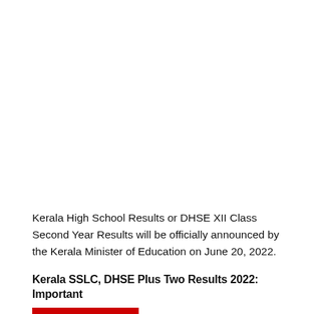Kerala High School Results or DHSE XII Class Second Year Results will be officially announced by the Kerala Minister of Education on June 20, 2022.
Kerala SSLC, DHSE Plus Two Results 2022: Important